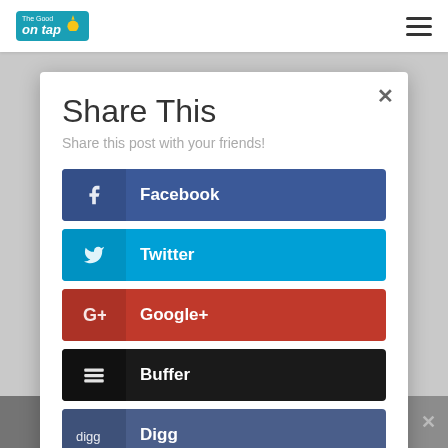[Figure (screenshot): Mobile website navigation bar with 'The Good on tap' logo and hamburger menu icon]
Share This
Share this post with your friends!
Facebook
Twitter
Google+
Buffer
Digg
Evernote